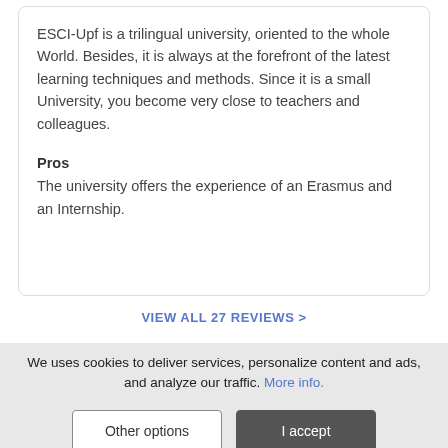ESCI-Upf is a trilingual university, oriented to the whole World. Besides, it is always at the forefront of the latest learning techniques and methods. Since it is a small University, you become very close to teachers and colleagues.
Pros
The university offers the experience of an Erasmus and an Internship.
VIEW ALL 27 REVIEWS >
PROGRAMMES
We uses cookies to deliver services, personalize content and ads, and analyze our traffic. More info.